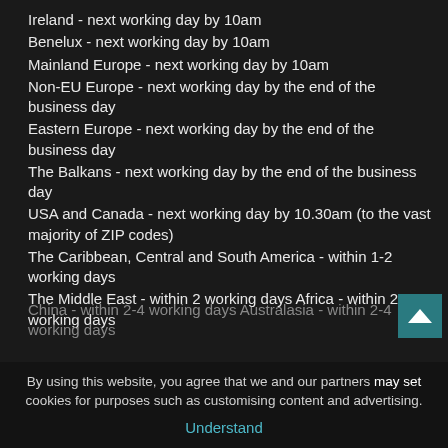Ireland - next working day by 10am
Benelux - next working day by 10am
Mainland Europe - next working day by 10am
Non-EU Europe - next working day by the end of the business day
Eastern Europe - next working day by the end of the business day
The Balkans - next working day by the end of the business day
USA and Canada - next working day by 10.30am (to the vast majority of ZIP codes)
The Caribbean, Central and South America - within 1-2 working days
The Middle East - within 2 working days Africa - within 2-4 working days
China - within 2-4 working days Australasia - within 2-4 working days
By using this website, you agree that we and our partners may set cookies for purposes such as customising content and advertising.
Understand